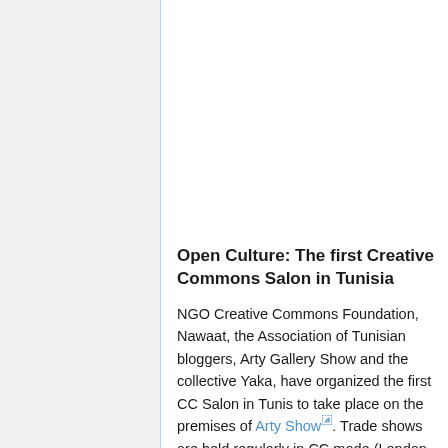Open Culture: The first Creative Commons Salon in Tunisia
NGO Creative Commons Foundation, Nawaat, the Association of Tunisian bloggers, Arty Gallery Show and the collective Yaka, have organized the first CC Salon in Tunis to take place on the premises of Arty Show. Trade shows are held regularly in CC mode (London,